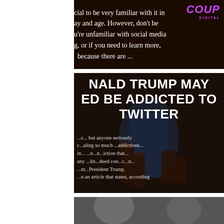[Figure (screenshot): Dark background image with white text overlay showing a partial article about social media, with a purple COUP logo/watermark in the top right corner. Text reads: 'cial to be very familiar with it in ay and age. However, don't be u're unfamiliar with social media g, or if you need to learn more, because there are ...']
[Figure (screenshot): Dark image of a hand holding a smartphone, with large white bold headline text overlay reading 'NALD TRUMP MAY ED BE ADDICTED TO TWITTER' and partially visible article body text below about anyone seriously considering much addictions and President Trump, ending with 'an article that states, according']
[Figure (photo): Partial photo visible at the very bottom of the page, appears to be a portrait/headshot, mostly cut off.]